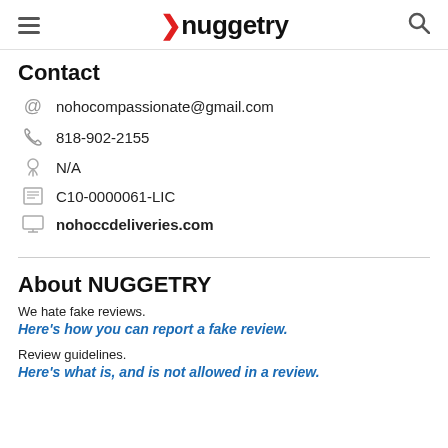nuggetry
Contact
nohocompassionate@gmail.com
818-902-2155
N/A
C10-0000061-LIC
nohoccdeliveries.com
About NUGGETRY
We hate fake reviews.
Here's how you can report a fake review.
Review guidelines.
Here's what is, and is not allowed in a review.